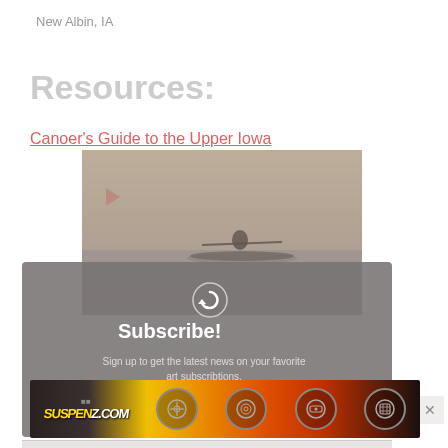New Albin, IA
Resources:
Canoer's Guide to the Upper Iowa
[Figure (screenshot): A video player showing a kayaker on water with a subscription overlay card reading 'Subscribe!' and subtext 'Sign up to get the latest news on your favorite art subscribtions'. A circular refresh/replay icon is visible. Below the overlay is a video progress bar.]
[Figure (infographic): A bottom advertisement banner with the Suspension.com logo and four circular icons representing different product/category symbols.]